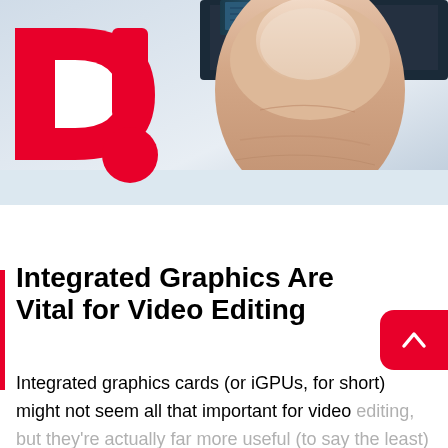[Figure (photo): Close-up photo of a finger holding a computer chip/CPU against a dark background, with a red 'D!' logo overlay in the bottom-left of the image area.]
Integrated Graphics Are Vital for Video Editing
Integrated graphics cards (or iGPUs, for short) might not seem all that important for video editing, but they're actually far more useful (to say the least) than one could ever imagine